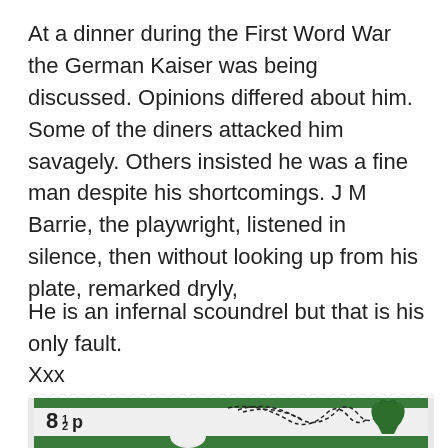At a dinner during the First Word War the German Kaiser was being discussed. Opinions differed about him. Some of the diners attacked him savagely. Others insisted he was a fine man despite his shortcomings. J M Barrie, the playwright, listened in silence, then without looking up from his plate, remarked dryly,
He is an infernal scoundrel but that is his only fault.
Xxx
[Figure (photo): A British postage stamp showing 8½p denomination with a green design depicting a badminton scene with shuttlecock trajectory lines and a silhouette of Queen Elizabeth II on the right.]